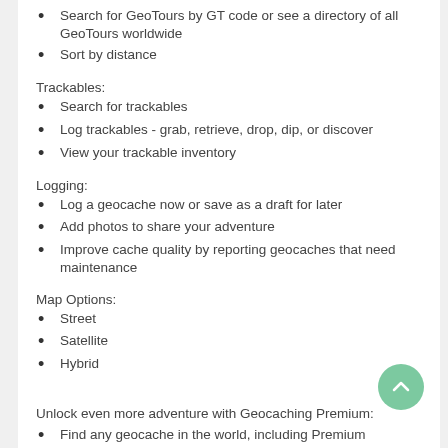Search for GeoTours by GT code or see a directory of all GeoTours worldwide
Sort by distance
Trackables:
Search for trackables
Log trackables - grab, retrieve, drop, dip, or discover
View your trackable inventory
Logging:
Log a geocache now or save as a draft for later
Add photos to share your adventure
Improve cache quality by reporting geocaches that need maintenance
Map Options:
Street
Satellite
Hybrid
Unlock even more adventure with Geocaching Premium:
Find any geocache in the world, including Premium